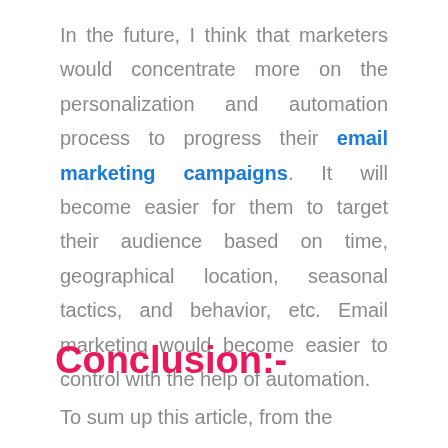In the future, I think that marketers would concentrate more on the personalization and automation process to progress their email marketing campaigns. It will become easier for them to target their audience based on time, geographical location, seasonal tactics, and behavior, etc. Email marketing would become easier to control with the help of automation.
Conclusion:-
To sum up this article, from the